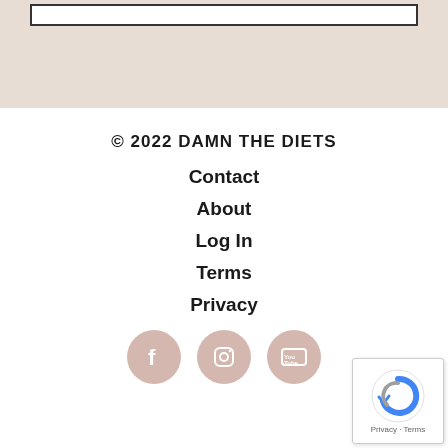[Figure (screenshot): Top beige/tan section with a white bordered rectangle, partial view of website header]
© 2022 DAMN THE DIETS
Contact
About
Log In
Terms
Privacy
[Figure (illustration): Three social media icons: Facebook, Instagram, YouTube — circular pinkish-beige buttons]
[Figure (other): Google reCAPTCHA badge in bottom right corner with Privacy and Terms text]